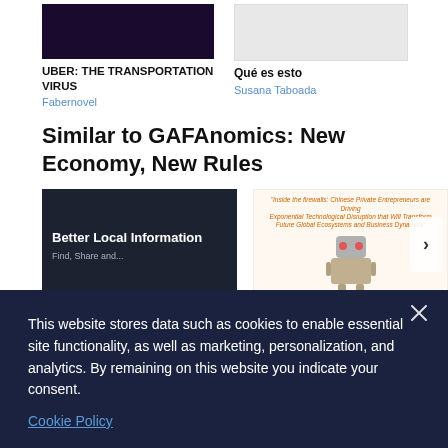[Figure (photo): Book thumbnail for UBER: THE TRANSPORTATION VIRUS — dark purple/black background]
UBER: THE TRANSPORTATION VIRUS
Fabernovel
[Figure (photo): Book thumbnail for Qué es esto — light/white background]
Qué es esto
Susana Taboada
Similar to GAFAnomics: New Economy, New Rules
[Figure (photo): Book thumbnail: Better Local Information - Find, Share and... dark background with screen graphic]
[Figure (photo): Book thumbnail with orange text quote about Chinese Private Entrepreneurs and robot illustration]
This website stores data such as cookies to enable essential site functionality, as well as marketing, personalization, and analytics. By remaining on this website you indicate your consent.
Cookie Policy